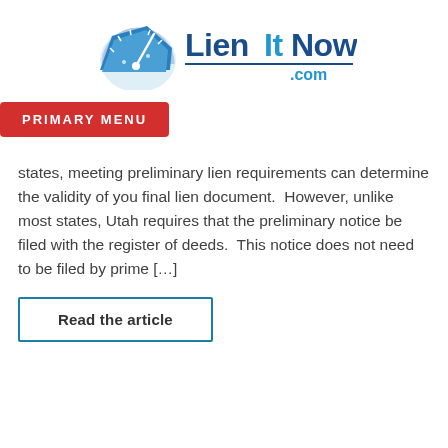[Figure (logo): LienItNow.com logo with a blue speedometer/gauge icon on the left and bold blue text reading 'LienItNow' with '.com' in smaller blue text below]
PRIMARY MENU
states, meeting preliminary lien requirements can determine the validity of you final lien document.  However, unlike most states, Utah requires that the preliminary notice be filed with the register of deeds.  This notice does not need to be filed by prime […]
Read the article